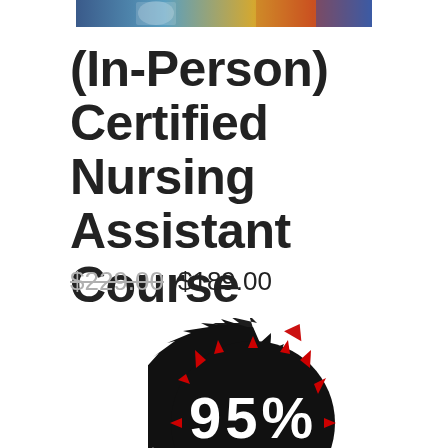[Figure (photo): Partial photo of nursing/medical scene at top of page]
(In-Person) Certified Nursing Assistant Course
$229.00  $189.00
[Figure (infographic): Black starburst badge with red accent points reading '95% OF OUR STUDENTS PASS THEIR STATE BOARD EXAMS ON THEIR FIRST TRY!']